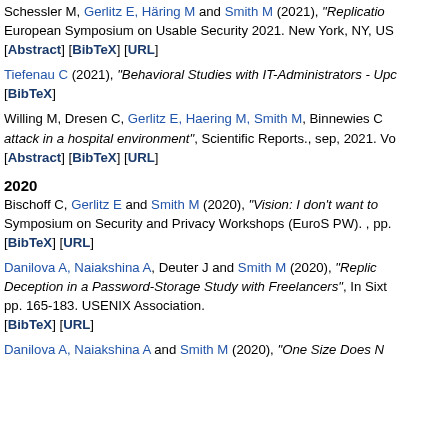Schessler M, Gerlitz E, Häring M and Smith M (2021), "Replication..." European Symposium on Usable Security 2021. New York, NY, US... [Abstract] [BibTeX] [URL]
Tiefenau C (2021), "Behavioral Studies with IT-Administrators - Upd... [BibTeX]
Willing M, Dresen C, Gerlitz E, Haering M, Smith M, Binnewies C... attack in a hospital environment", Scientific Reports., sep, 2021. Vo... [Abstract] [BibTeX] [URL]
2020
Bischoff C, Gerlitz E and Smith M (2020), "Vision: I don't want to... Symposium on Security and Privacy Workshops (EuroS PW). , pp.... [BibTeX] [URL]
Danilova A, Naiakshina A, Deuter J and Smith M (2020), "Replic... Deception in a Password-Storage Study with Freelancers", In Sixt... pp. 165-183. USENIX Association. [BibTeX] [URL]
Danilova A, Naiakshina A and Smith M (2020), "One Size Does N...